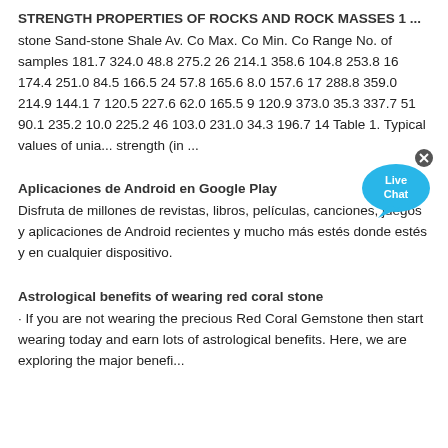STRENGTH PROPERTIES OF ROCKS AND ROCK MASSES 1 ...
stone Sand-stone Shale Av. Co Max. Co Min. Co Range No. of samples 181.7 324.0 48.8 275.2 26 214.1 358.6 104.8 253.8 16 174.4 251.0 84.5 166.5 24 57.8 165.6 8.0 157.6 17 288.8 359.0 214.9 144.1 7 120.5 227.6 62.0 165.5 9 120.9 373.0 35.3 337.7 51 90.1 235.2 10.0 225.2 46 103.0 231.0 34.3 196.7 14 Table 1. Typical values of unia... strength (in ...
[Figure (other): Live Chat button overlay — blue speech bubble with 'Live Chat' text and a close X button]
Aplicaciones de Android en Google Play
Disfruta de millones de revistas, libros, películas, canciones, juegos y aplicaciones de Android recientes y mucho más estés donde estés y en cualquier dispositivo.
Astrological benefits of wearing red coral stone
· If you are not wearing the precious Red Coral Gemstone then start wearing today and earn lots of astrological benefits. Here, we are exploring the major benefi...